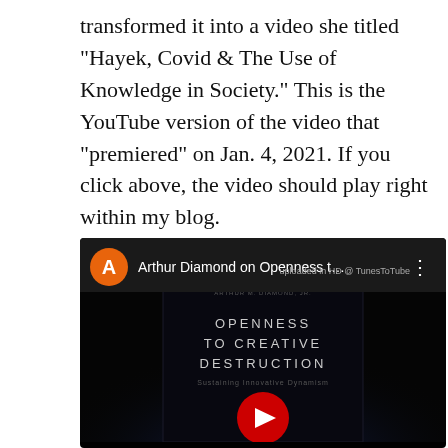transformed it into a video she titled "Hayek, Covid & The Use of Knowledge in Society." This is the YouTube version of the video that "premiered" on Jan. 4, 2021. If you click above, the video should play right within my blog.
[Figure (screenshot): YouTube video embed screenshot showing 'Arthur Diamond on Openness t...' with an orange avatar circle labeled A, three-dot menu, 'uploaded in HD @ TunesToTube' text, and a book cover thumbnail for 'Openness to Creative Destruction: Sustaining Innovative Dynamism' with a red YouTube play button.]